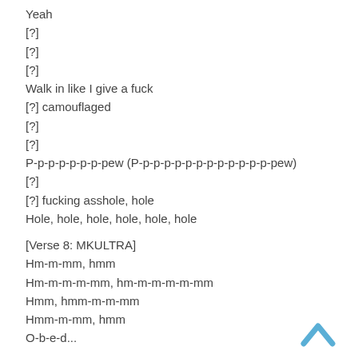Yeah
[?]
[?]
[?]
Walk in like I give a fuck
[?] camouflaged
[?]
[?]
P-p-p-p-p-p-p-pew (P-p-p-p-p-p-p-p-p-p-p-p-p-pew)
[?]
[?] fucking asshole, hole
Hole, hole, hole, hole, hole, hole
[Verse 8: MKULTRA]
Hm-m-mm, hmm
Hm-m-m-m-mm, hm-m-m-m-m-mm
Hmm, hmm-m-m-mm
Hmm-m-mm, hmm
O-b-e-d...